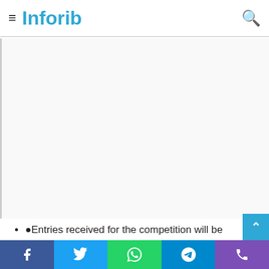Inforib
[Figure (other): White/grey blank content area placeholder]
●Entries received for the competition will be reviewed by a distinguished panel of judges made up of professors from reputable Nigerian Universities, who will then shortlist 12 essays for further
Social sharing bar: Facebook, Twitter, WhatsApp, Telegram, Phone